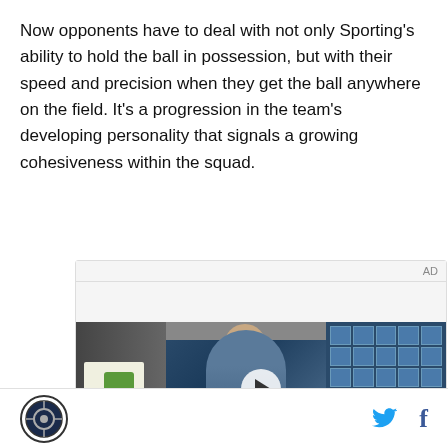Now opponents have to deal with not only Sporting's ability to hold the ball in possession, but with their speed and precision when they get the ball anywhere on the field. It's a progression in the team's developing personality that signals a growing cohesiveness within the squad.
[Figure (screenshot): Video advertisement player showing a young man in a denim jacket standing in front of a building with a blue glass grid facade. A play button is centered on the video. Text overlay reads 'Unfold your world'. An 'AD' label appears in the top-right corner of the ad container.]
Site logo icon on left; Twitter and Facebook social media icons on right